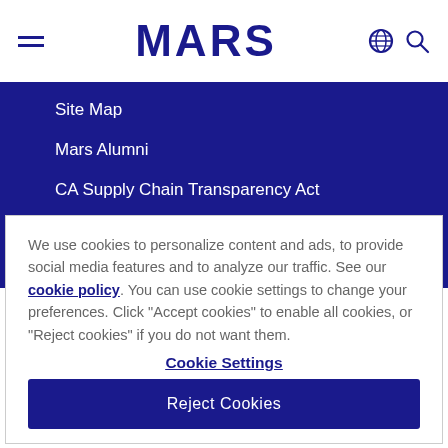MARS
Site Map
Mars Alumni
CA Supply Chain Transparency Act
Modern Slavery Act
We use cookies to personalize content and ads, to provide social media features and to analyze our traffic. See our cookie policy. You can use cookie settings to change your preferences. Click "Accept cookies" to enable all cookies, or "Reject cookies" if you do not want them.
Cookie Settings
Reject Cookies